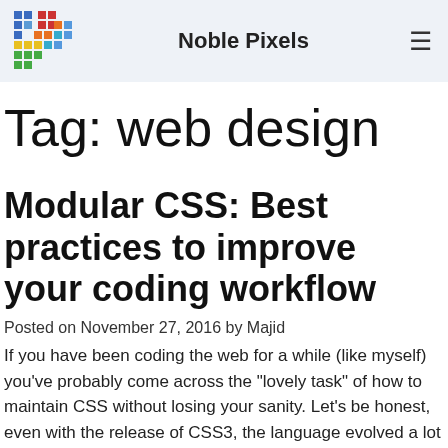Noble Pixels
Tag: web design
Modular CSS: Best practices to improve your coding workflow
Posted on November 27, 2016 by Majid
If you have been coding the web for a while (like myself) you’ve probably come across the “lovely task” of how to maintain CSS without losing your sanity. Let’s be honest, even with the release of CSS3, the language evolved a lot and